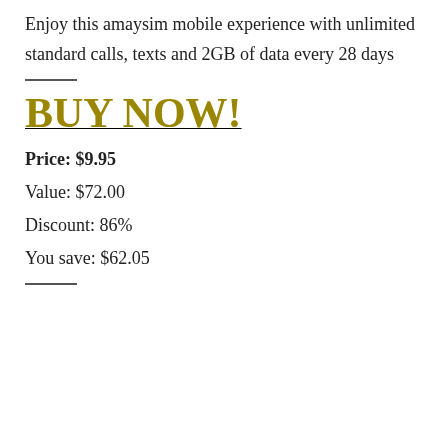Enjoy this amaysim mobile experience with unlimited standard calls, texts and 2GB of data every 28 days
BUY NOW!
Price: $9.95
Value: $72.00
Discount: 86%
You save: $62.05